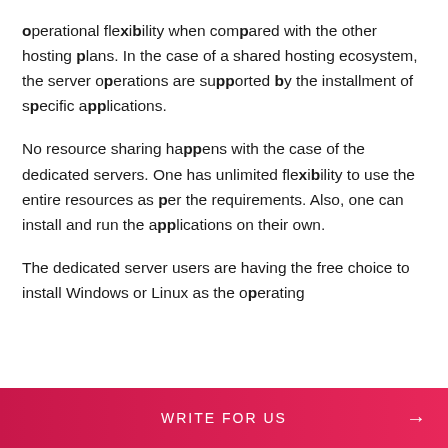operational flexibility when compared with the other hosting plans. In the case of a shared hosting ecosystem, the server operations are supported by the installment of specific applications.
No resource sharing happens with the case of the dedicated servers. One has unlimited flexibility to use the entire resources as per the requirements. Also, one can install and run the applications on their own.
The dedicated server users are having the free choice to install Windows or Linux as the operating
WRITE FOR US